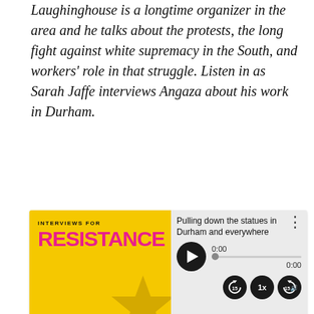Laughinghouse is a longtime organizer in the area and he talks about the protests, the long fight against white supremacy in the South, and workers' role in that struggle. Listen in as Sarah Jaffe interviews Angaza about his work in Durham.
[Figure (screenshot): Audio player widget for podcast 'Interviews for Resistance'. Shows album art with yellow background and pink RESISTANCE text, playback controls (play button, progress bar at 0:00), speed control buttons (15s back, 1x speed, 15s forward, volume), and four action buttons: Shownotes (dark), Download (dark blue), Subscribe (orange), Share (blue).]
Outtake:
One of the things that we do as a union is we oftentimes go to the workplaces, whether it is